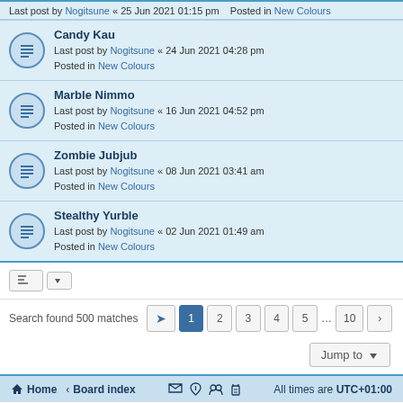Candy Kau — Last post by Nogitsune « 24 Jun 2021 04:28 pm — Posted in New Colours
Marble Nimmo — Last post by Nogitsune « 16 Jun 2021 04:52 pm — Posted in New Colours
Zombie Jubjub — Last post by Nogitsune « 08 Jun 2021 03:41 am — Posted in New Colours
Stealthy Yurble — Last post by Nogitsune « 02 Jun 2021 01:49 am — Posted in New Colours
Search found 500 matches  1 2 3 4 5 ... 10
Jump to
Home · Board index   All times are UTC+01:00
Powered by phpBB® Forum Software © phpBB Limited
Privacy | Terms